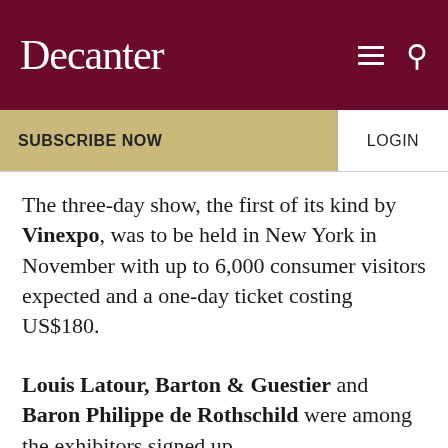Decanter
SUBSCRIBE NOW   LOGIN
The three-day show, the first of its kind by Vinexpo, was to be held in New York in November with up to 6,000 consumer visitors expected and a one-day ticket costing US$180.
Louis Latour, Barton & Guestier and Baron Philippe de Rothschild were among the exhibitors signed up.